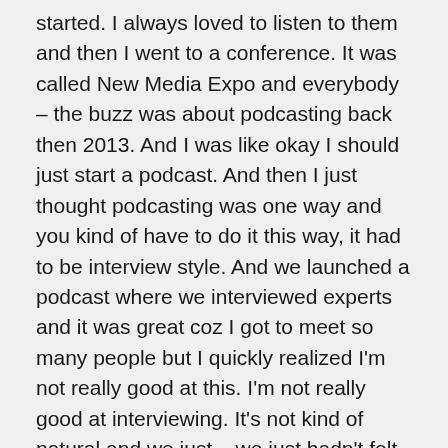started. I always loved to listen to them and then I went to a conference. It was called New Media Expo and everybody – the buzz was about podcasting back then 2013. And I was like okay I should just start a podcast. And then I just thought podcasting was one way and you kind of have to do it this way, it had to be interview style. And we launched a podcast where we interviewed experts and it was great coz I got to meet so many people but I quickly realized I'm not really good at this. I'm not really good at interviewing. It's not kind of natural and we just – we just hadn't felt podcast. It just didn't go well. We did it for about six months. We had about fif-, forty-six episodes and it was a good run and then you know Nicole and I, Nicole's my business partner and wife, and we um, we went on a road trip and we just thought to ourselves like why is